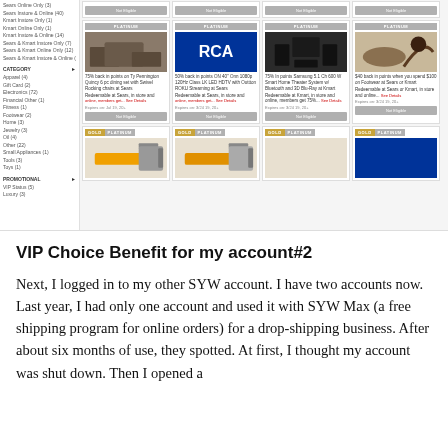[Figure (screenshot): Screenshot of a shop your way (SYW) rewards deals page showing product cards with Platinum and Gold badges including furniture, RCA TV, Samsung home theater, footwear, and chainsaw deals. Left sidebar shows filter categories including Store options, Category options, and Promotional filters.]
VIP Choice Benefit for my account#2
Next, I logged in to my other SYW account. I have two accounts now. Last year, I had only one account and used it with SYW Max (a free shipping program for online orders) for a drop-shipping business. After about six months of use, they spotted. At first, I thought my account was shut down. Then I opened a